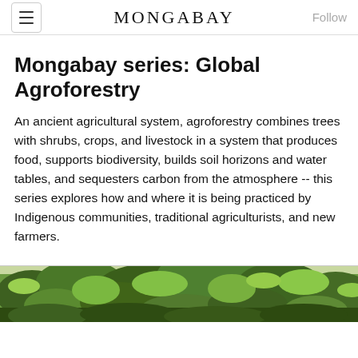MONGABAY
Mongabay series: Global Agroforestry
An ancient agricultural system, agroforestry combines trees with shrubs, crops, and livestock in a system that produces food, supports biodiversity, builds soil horizons and water tables, and sequesters carbon from the atmosphere -- this series explores how and where it is being practiced by Indigenous communities, traditional agriculturists, and new farmers.
[Figure (photo): Photo of lush green tropical foliage and trees, likely from an agroforestry setting]